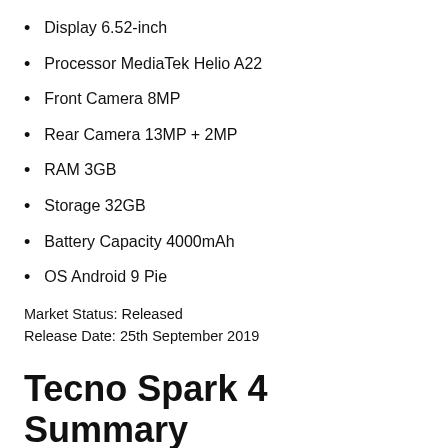Display 6.52-inch
Processor MediaTek Helio A22
Front Camera 8MP
Rear Camera 13MP + 2MP
RAM 3GB
Storage 32GB
Battery Capacity 4000mAh
OS Android 9 Pie
Market Status: Released
Release Date: 25th September 2019
Tecno Spark 4 Summary